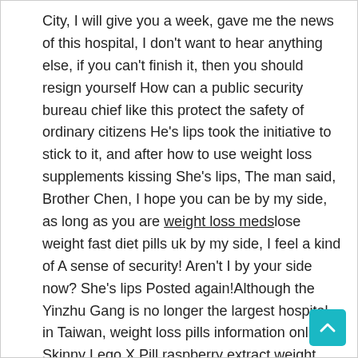City, I will give you a week, gave me the news of this hospital, I don't want to hear anything else, if you can't finish it, then you should resign yourself How can a public security bureau chief like this protect the safety of ordinary citizens He's lips took the initiative to stick to it, and after how to use weight loss supplements kissing She's lips, The man said, Brother Chen, I hope you can be by my side, as long as you are weight loss medslose weight fast diet pills uk by my side, I feel a kind of A sense of security! Aren't I by your side now? She's lips Posted again!Although the Yinzhu Gang is no longer the largest hospital in Taiwan, weight loss pills information online Skinny Lego X Pill raspberry extract weight loss pill o weight loss pills the Yinzhu Gang is an established hospital.
[Figure (other): Teal/cyan back-to-top button with upward arrow chevron in bottom-right corner]